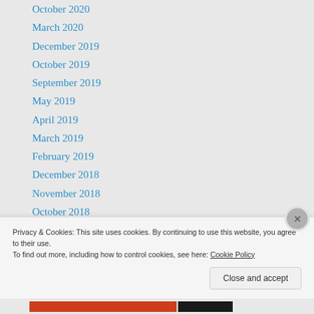October 2020
March 2020
December 2019
October 2019
September 2019
May 2019
April 2019
March 2019
February 2019
December 2018
November 2018
October 2018
September 2018
July 2018
Privacy & Cookies: This site uses cookies. By continuing to use this website, you agree to their use.
To find out more, including how to control cookies, see here: Cookie Policy